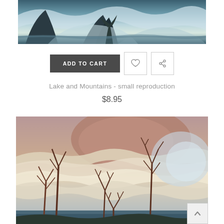[Figure (illustration): Top portion of a painting showing a lake and mountains landscape in teal and blue tones with stylized rolling hills and dark mountain shapes]
ADD TO CART
[Figure (illustration): Heart icon button]
[Figure (illustration): Share/link icon button]
Lake and Mountains - small reproduction
$8.95
[Figure (illustration): Painting showing a landscape with bare trees in foreground, stylized cloud formations in pinks and creams, and a lake or shoreline in blue at bottom]